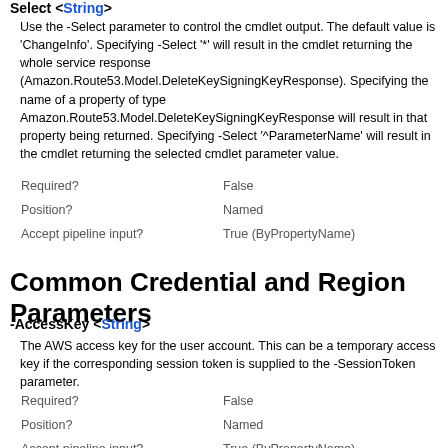Select <String>
Use the -Select parameter to control the cmdlet output. The default value is 'ChangeInfo'. Specifying -Select '*' will result in the cmdlet returning the whole service response (Amazon.Route53.Model.DeleteKeySigningKeyResponse). Specifying the name of a property of type Amazon.Route53.Model.DeleteKeySigningKeyResponse will result in that property being returned. Specifying -Select '^ParameterName' will result in the cmdlet returning the selected cmdlet parameter value.
| Property | Value |
| --- | --- |
| Required? | False |
| Position? | Named |
| Accept pipeline input? | True (ByPropertyName) |
Common Credential and Region Parameters
-AccessKey <String>
The AWS access key for the user account. This can be a temporary access key if the corresponding session token is supplied to the -SessionToken parameter.
| Property | Value |
| --- | --- |
| Required? | False |
| Position? | Named |
| Accept pipeline input? | True (ByPropertyName) |
| Aliases | AK |